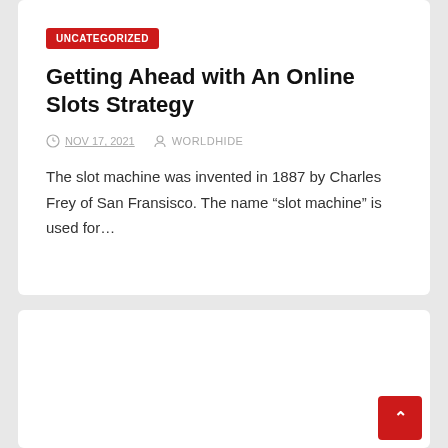UNCATEGORIZED
Getting Ahead with An Online Slots Strategy
NOV 17, 2021   WORLDHIDE
The slot machine was invented in 1887 by Charles Frey of San Fransisco. The name “slot machine” is used for…
[Figure (photo): Partial view of a dark-colored smartphone or electronic device against a cream/beige background, visible at the bottom of the page.]